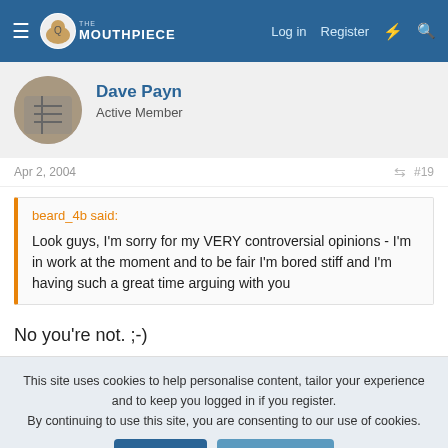The Mouthpiece | Log in | Register
Dave Payn
Active Member
Apr 2, 2004  #19
beard_4b said:
Look guys, I'm sorry for my VERY controversial opinions - I'm in work at the moment and to be fair I'm bored stiff and I'm having such a great time arguing with you
No you're not. ;-)
This site uses cookies to help personalise content, tailor your experience and to keep you logged in if you register.
By continuing to use this site, you are consenting to our use of cookies.
Accept   Learn more...